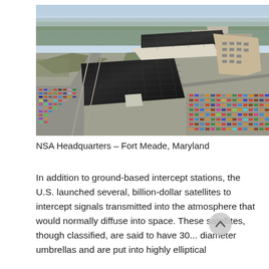[Figure (photo): Aerial photograph of NSA Headquarters building complex with large glass-clad black buildings surrounded by extensive parking lots filled with cars, with forested areas in the background. Fort Meade, Maryland.]
NSA Headquarters – Fort Meade, Maryland
In addition to ground-based intercept stations, the U.S. launched several, billion-dollar satellites to intercept signals transmitted into the atmosphere that would normally diffuse into space. These satellites, though classified, are said to have 30... diameter umbrellas and are put into highly elliptical